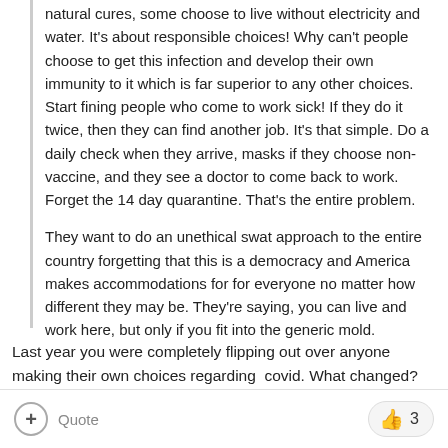natural cures, some choose to live without electricity and water.  It's about responsible choices!  Why can't people choose to get this infection and develop their own immunity to it which is far superior to any other choices.  Start fining people who come to work sick!  If they do it twice, then they can find another job. It's that simple.  Do a daily check when they arrive, masks if they choose non-vaccine, and they see a doctor to come back to work.  Forget the 14 day quarantine.  That's the entire problem.

They want to do an unethical swat approach to the entire country forgetting that this is a democracy and America makes accommodations for for everyone no matter how different they may be.  They're saying, you can live and work here, but only if you fit into the generic mold.
Last year you were completely flipping out over anyone making their own choices regarding  covid. What changed?